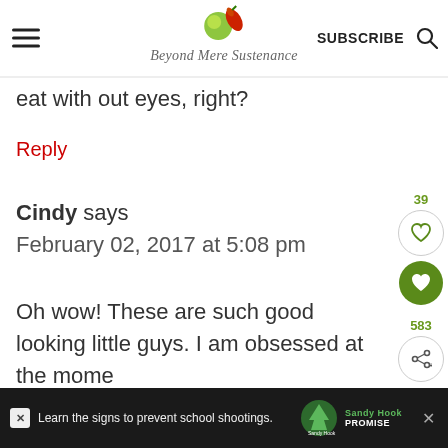Beyond Mere Sustenance – SUBSCRIBE
eat with out eyes, right?
Reply
Cindy says
February 02, 2017 at 5:08 pm
Oh wow! These are such good looking little guys. I am obsessed at the mome
[Figure (other): Advertisement bar: Learn the signs to prevent school shootings. Sandy Hook Promise logo]
Learn the signs to prevent school shootings. Sandy Hook Promise